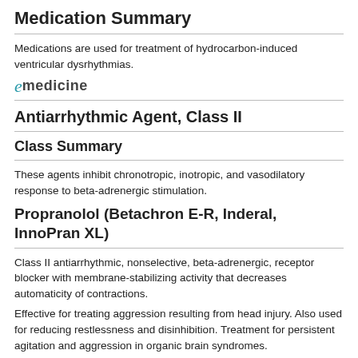Medication Summary
Medications are used for treatment of hydrocarbon-induced ventricular dysrhythmias.
[Figure (logo): eMedicine logo with stylized italic 'e' in teal and 'medicine' in bold gray text]
Antiarrhythmic Agent, Class II
Class Summary
These agents inhibit chronotropic, inotropic, and vasodilatory response to beta-adrenergic stimulation.
Propranolol (Betachron E-R, Inderal, InnoPran XL)
Class II antiarrhythmic, nonselective, beta-adrenergic, receptor blocker with membrane-stabilizing activity that decreases automaticity of contractions.
Effective for treating aggression resulting from head injury. Also used for reducing restlessness and disinhibition. Treatment for persistent agitation and aggression in organic brain syndromes.